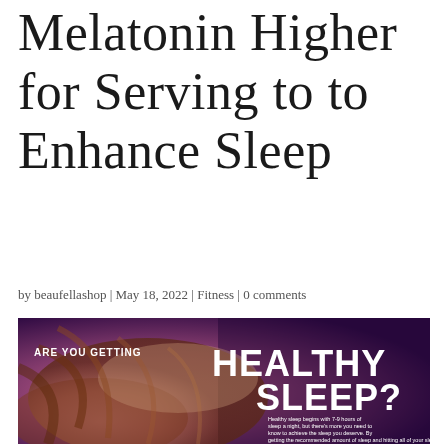Melatonin Higher for Serving to to Enhance Sleep
by beaufellashop | May 18, 2022 | Fitness | 0 comments
[Figure (infographic): Sleep health infographic with dark purple/mauve background showing a person sleeping, with text 'ARE YOU GETTING HEALTHY SLEEP?' and body text about healthy sleep beginning with 7-9 hours.]